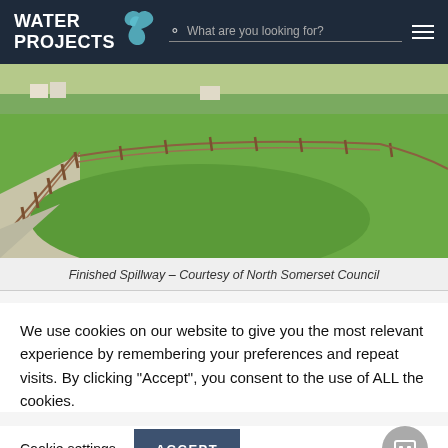WATER PROJECTS
[Figure (photo): Outdoor photo of a finished grass spillway with wooden fence running along both sides on a grassy field with trees in background]
Finished Spillway – Courtesy of North Somerset Council
We use cookies on our website to give you the most relevant experience by remembering your preferences and repeat visits. By clicking "Accept", you consent to the use of ALL the cookies.
Cookie settings | ACCEPT